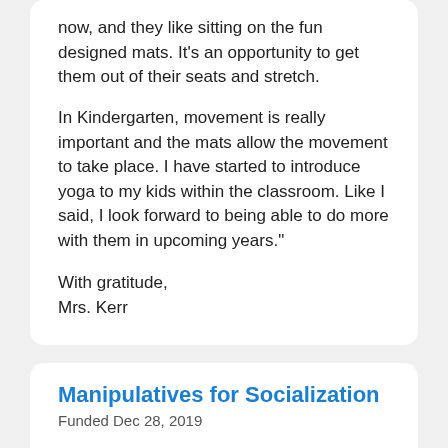now, and they like sitting on the fun designed mats. It's an opportunity to get them out of their seats and stretch.
In Kindergarten, movement is really important and the mats allow the movement to take place. I have started to introduce yoga to my kids within the classroom. Like I said, I look forward to being able to do more with them in upcoming years."
With gratitude,
Mrs. Kerr
Manipulatives for Socialization
Funded Dec 28, 2019
I wish you could see the light on my students' faces when they received the new materials in